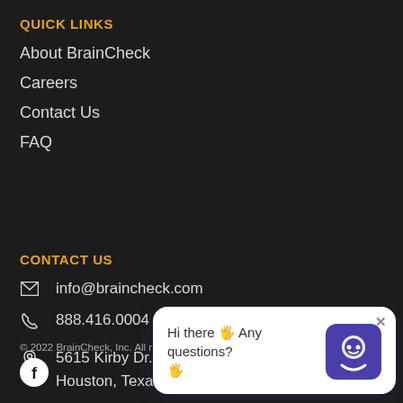QUICK LINKS
About BrainCheck
Careers
Contact Us
FAQ
CONTACT US
info@braincheck.com
888.416.0004
5615 Kirby Dr. #690
Houston, Texas 77005
© 2022 BrainCheck, Inc. All rights reserved.
[Figure (other): Chat support widget with message: Hi there 👋 Any questions? 👋 and BrainCheck chat avatar logo]
[Figure (logo): Facebook social media icon (white F on black circle)]